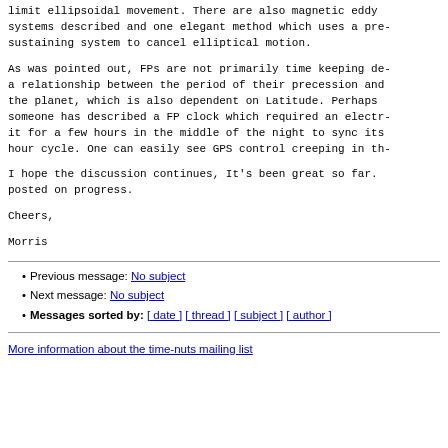limit ellipsoidal movement. There are also magnetic eddy systems described and one elegant method which uses a pre- sustaining system to cancel elliptical motion.
As was pointed out, FPs are not primarily time keeping de- a relationship between the period of their precession and the planet, which is also dependent on Latitude. Perhaps someone has described a FP clock which required an electr- it for a few hours in the middle of the night to sync its hour cycle. One can easily see GPS control creeping in th-
I hope the discussion continues, It's been great so far. posted on progress.
Cheers,

Morris
Previous message: No subject
Next message: No subject
Messages sorted by: [ date ] [ thread ] [ subject ] [ author ]
More information about the time-nuts mailing list